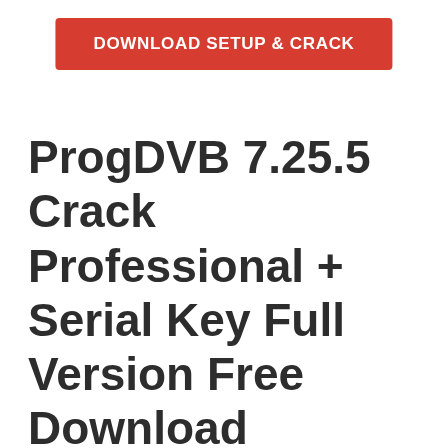[Figure (other): Red button with white bold text reading DOWNLOAD SETUP & CRACK]
ProgDVB 7.25.5 Crack Professional + Serial Key Full Version Free Download